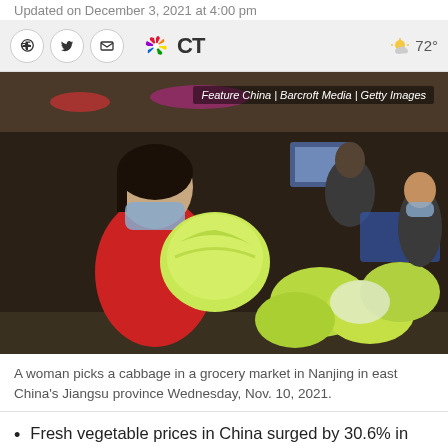Updated on December 3, 2021 at 4:00 pm
[Figure (photo): A woman wearing a red jacket and face mask holds a large head of cabbage at a grocery market. In the background are more cabbages and other shoppers also wearing masks.]
Feature China | Barcroft Media | Getty Images
A woman picks a cabbage in a grocery market in Nanjing in east China's Jiangsu province Wednesday, Nov. 10, 2021.
Fresh vegetable prices in China surged by 30.6% in